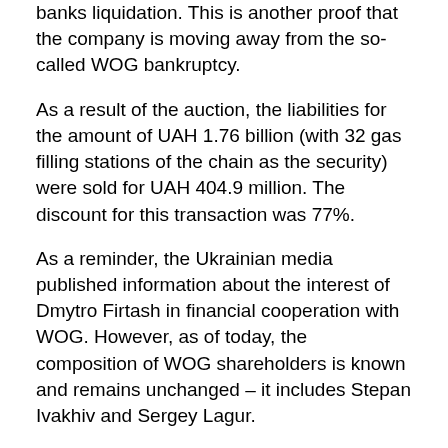banks liquidation. This is another proof that the company is moving away from the so-called WOG bankruptcy.
As a result of the auction, the liabilities for the amount of UAH 1.76 billion (with 32 gas filling stations of the chain as the security) were sold for UAH 404.9 million. The discount for this transaction was 77%.
As a reminder, the Ukrainian media published information about the interest of Dmytro Firtash in financial cooperation with WOG. However, as of today, the composition of WOG shareholders is known and remains unchanged – it includes Stepan Ivakhiv and Sergey Lagur.
These precedents of 2019 point to a substantial role of the government regulation in settling the issues of repayment of debt liabilities of problem banks through sale of collaterals. This is